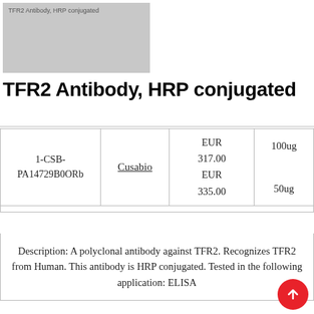[Figure (photo): Thumbnail image of TFR2 Antibody HRP conjugated product, gray background with small text label]
TFR2 Antibody, HRP conjugated
| Catalog | Supplier | Price | Size |
| --- | --- | --- | --- |
| 1-CSB-PA14729B0ORb | Cusabio | EUR 317.00
EUR 335.00 | 100ug
50ug |
Description: A polyclonal antibody against TFR2. Recognizes TFR2 from Human. This antibody is HRP conjugated. Tested in the following application: ELISA